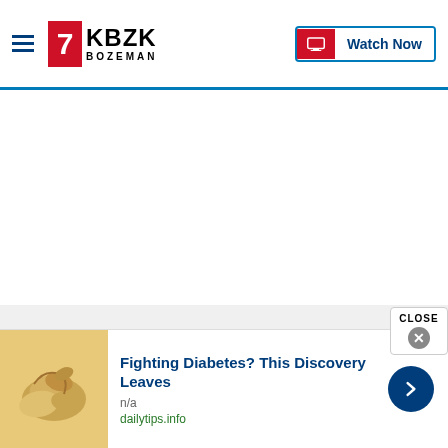KBZK Bozeman — Watch Now
News  Weather  Community  Sports  Don't Waste Your Money  Support
Sitemap  Privacy Policy  Privacy Center  Journalism Ethics Guidelines  Terms of Use  EEO  Careers  FCC Public File  FCC Application  Public File Contact Us  Accessibility Statement  Closed Captioning Contact
[Figure (screenshot): Advertisement banner: cashews image, headline 'Fighting Diabetes? This Discovery Leaves', source n/a, url dailytips.info]